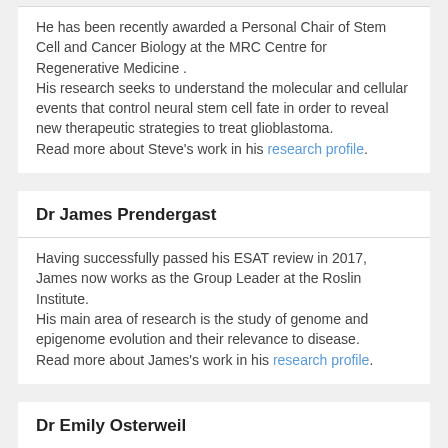He has been recently awarded a Personal Chair of Stem Cell and Cancer Biology at the MRC Centre for Regenerative Medicine .
His research seeks to understand the molecular and cellular events that control neural stem cell fate in order to reveal new therapeutic strategies to treat glioblastoma.
Read more about Steve's work in his research profile.
Dr James Prendergast
Having successfully passed his ESAT review in 2017, James now works as the Group Leader at the Roslin Institute.
His main area of research is the study of genome and epigenome evolution and their relevance to disease.
Read more about James's work in his research profile.
Dr Emily Osterweil